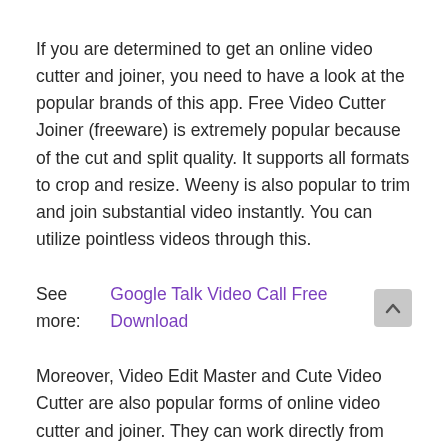If you are determined to get an online video cutter and joiner, you need to have a look at the popular brands of this app. Free Video Cutter Joiner (freeware) is extremely popular because of the cut and split quality. It supports all formats to crop and resize. Weeny is also popular to trim and join substantial video instantly. You can utilize pointless videos through this.
See more: Google Talk Video Call Free Download
Moreover, Video Edit Master and Cute Video Cutter are also popular forms of online video cutter and joiner. They can work directly from the links. To cut the video into little pieces, Weeny is important. The